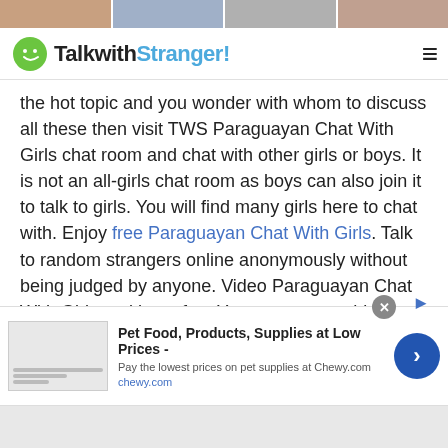[Figure (photo): Top image strip showing thumbnail photos of people]
TalkwithStranger!
the hot topic and you wonder with whom to discuss all these then visit TWS Paraguayan Chat With Girls chat room and chat with other girls or boys. It is not an all-girls chat room as boys can also join it to talk to girls. You will find many girls here to chat with. Enjoy free Paraguayan Chat With Girls. Talk to random strangers online anonymously without being judged by anyone. Video Paraguayan Chat With Girls and have fun. You can say anything you want but make sure not to misbehave as this will lead to a ban.

If you are a chat lover and you want to talk on different
[Figure (screenshot): Advertisement banner: Pet Food, Products, Supplies at Low Prices - Chewy.com]